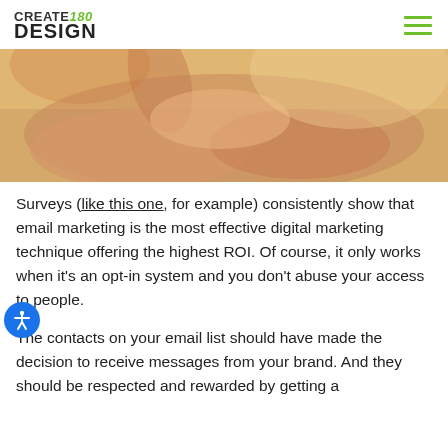CREATE180 DESIGN
[Figure (photo): Close-up photo of two cupped hands in warm golden light, suggesting openness or receiving something]
Surveys (like this one, for example) consistently show that email marketing is the most effective digital marketing technique offering the highest ROI. Of course, it only works when it's an opt-in system and you don't abuse your access to people.
The contacts on your email list should have made the decision to receive messages from your brand. And they should be respected and rewarded by getting a